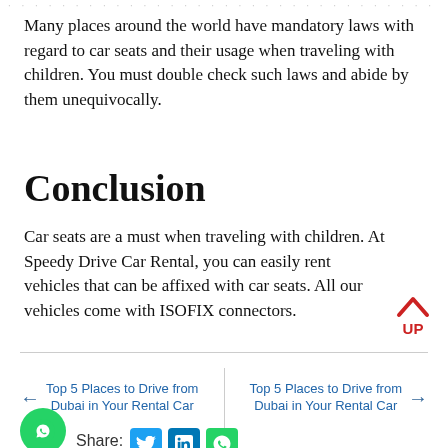Many places around the world have mandatory laws with regard to car seats and their usage when traveling with children. You must double check such laws and abide by them unequivocally.
Conclusion
Car seats are a must when traveling with children. At Speedy Drive Car Rental, you can easily rent vehicles that can be affixed with car seats. All our vehicles come with ISOFIX connectors.
Top 5 Places to Drive from Dubai in Your Rental Car
Top 5 Places to Drive from Dubai in Your Rental Car
Share: